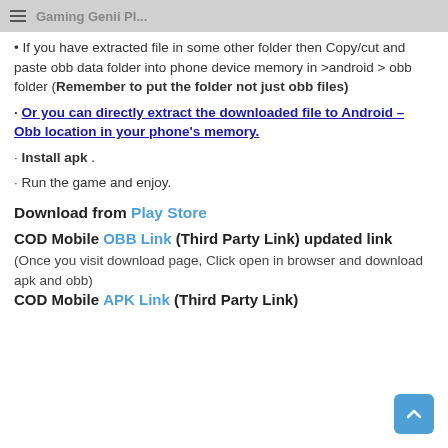Gaming Genii Ple...
If you have extracted file in some other folder then Copy/cut and paste obb data folder into phone device memory in >android > obb folder (Remember to put the folder not just obb files)
Or you can directly extract the downloaded file to Android – Obb location in your phone's memory.
Install apk .
Run the game and enjoy.
Download from Play Store
COD Mobile OBB Link (Third Party Link) updated link
(Once you visit download page, Click open in browser and download apk and obb) COD Mobile APK Link (Third Party Link)